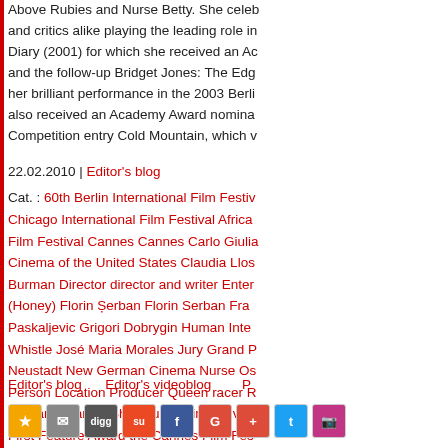Above Rubies and Nurse Betty. She celebrated by audiences and critics alike playing the leading role in Bridget Jones's Diary (2001) for which she received an Academy Award nomination and the follow-up Bridget Jones: The Edge of Reason. Due to her brilliant performance in the 2003 Berlin Competition she also received an Academy Award nomination for the Berlinale Competition entry Cold Mountain, which w...
22.02.2010 | Editor's blog
Cat. : 60th Berlin International Film Festival Africa Chicago International Film Festival Africa Film Festival Cannes Cannes Carlo Giulia Cinema of the United States Claudia Llos Burman Director director and writer Enter (Honey) Florin Șerban Florin Serban Fra Paskaljevic Grigori Dobrygin Human Inter Whistle José Maria Morales Jury Grand P Neustadt New German Cinema Nurse Os Person Location Producer Queen racer R Roman Polanski Shinobu Terajima Silver First Feature Award the Cannes Film Fes the Ernst Lubitsch Award the Venice Film Herzog Werner Herzog writer Yu Nan Yu
Editor's blog    Editor's videoblog    P...